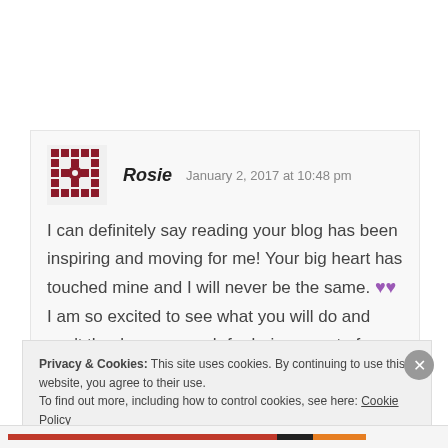Rosie   January 2, 2017 at 10:48 pm
I can definitely say reading your blog has been inspiring and moving for me! Your big heart has touched mine and I will never be the same. 💜💜 I am so excited to see what you will do and can't thank you enough for being a part of my journey.
Privacy & Cookies: This site uses cookies. By continuing to use this website, you agree to their use.
To find out more, including how to control cookies, see here: Cookie Policy